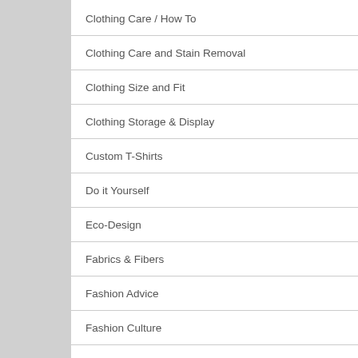Clothing Care / How To
Clothing Care and Stain Removal
Clothing Size and Fit
Clothing Storage & Display
Custom T-Shirts
Do it Yourself
Eco-Design
Fabrics & Fibers
Fashion Advice
Fashion Culture
How to Dress Like